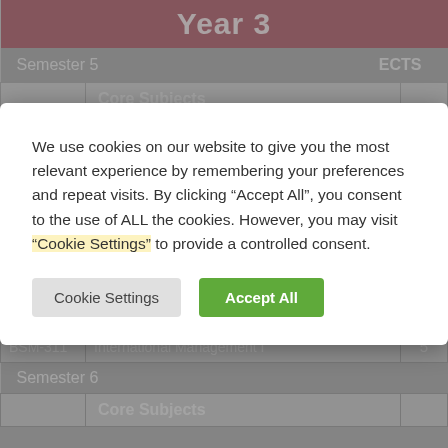Year 3
|  |  | ECTS |
| --- | --- | --- |
| Semester 5 |  | ECTS |
|  | Core Subjects |  |
| FSM-313 | PROPERTY DEVELOPMENT & PLANNING I | 5 |
| BSM-311 | International Management I | 5 |
| BSM-231 | Marketing Management I | 5 |
| BSM-311 | International Management I | 5 |
| Semester 6 |  |  |
|  | Core Subjects |  |
We use cookies on our website to give you the most relevant experience by remembering your preferences and repeat visits. By clicking “Accept All”, you consent to the use of ALL the cookies. However, you may visit “Cookie Settings” to provide a controlled consent.